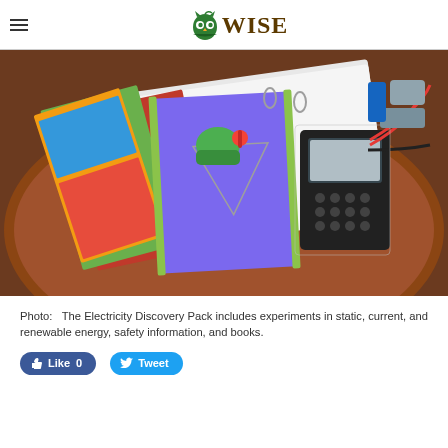WISE
[Figure (photo): Photo of an Electricity Discovery Pack laid out on a wooden table, including colorful books/booklets, a green toy, a multimeter, red and black test leads, and various components in plastic bags.]
Photo: The Electricity Discovery Pack includes experiments in static, current, and renewable energy, safety information, and books.